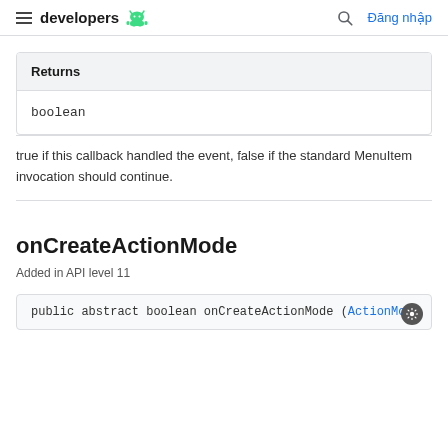developers | Đăng nhập
| Returns |
| --- |
| boolean |
| true if this callback handled the event, false if the standard MenuItem invocation should continue. |
onCreateActionMode
Added in API level 11
public abstract boolean onCreateActionMode (ActionMode